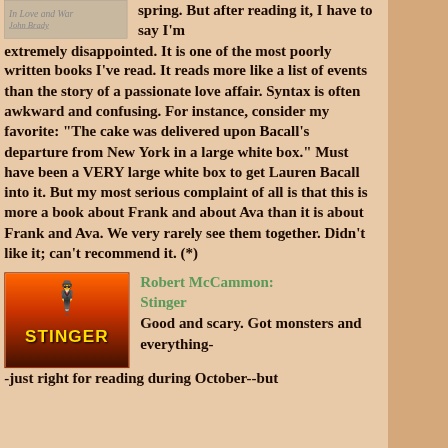[Figure (illustration): Book cover thumbnail showing 'In Love and War' by John Brady, gray/tan background with italic text]
spring. But after reading it, I have to say I'm extremely disappointed. It is one of the most poorly written books I've read. It reads more like a list of events than the story of a passionate love affair. Syntax is often awkward and confusing. For instance, consider my favorite: "The cake was delivered upon Bacall's departure from New York in a large white box." Must have been a VERY large white box to get Lauren Bacall into it. But my most serious complaint of all is that this is more a book about Frank and about Ava than it is about Frank and Ava. We very rarely see them together. Didn't like it; can't recommend it. (*)
[Figure (photo): Book cover for 'Stinger' by Robert McCammon, orange and dark background with silhouette figure]
Robert McCammon: Stinger
Good and scary. Got monsters and everything--just right for reading during October--but